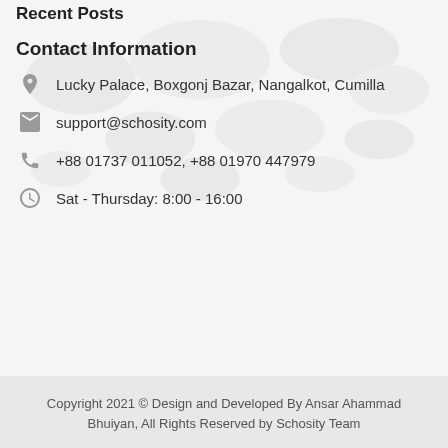Recent Posts
Contact Information
Lucky Palace, Boxgonj Bazar, Nangalkot, Cumilla
support@schosity.com
+88 01737 011052, +88 01970 447979
Sat - Thursday: 8:00 - 16:00
Copyright 2021 © Design and Developed By Ansar Ahammad Bhuiyan, All Rights Reserved by Schosity Team